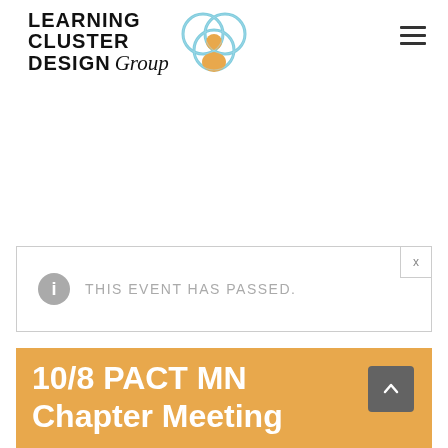[Figure (logo): Learning Cluster Design Group logo with text and interconnected circles icon with orange person figure]
THIS EVENT HAS PASSED.
10/8 PACT MN Chapter Meeting